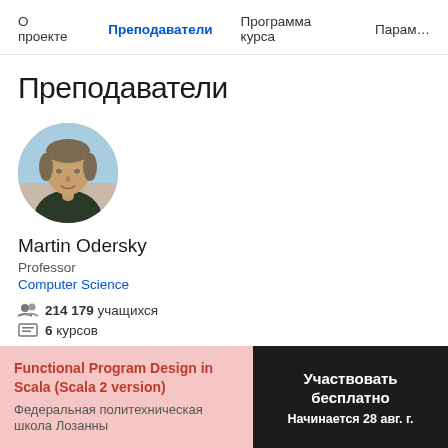О проекте  Преподаватели  Программа курса  Параметры
Преподаватели
[Figure (photo): Circular profile photo of Martin Odersky, a middle-aged man with short gray-brown hair, wearing a dark jacket, photographed outdoors.]
Martin Odersky
Professor
Computer Science
214 179 учащихся
6 курсов
Functional Program Design in Scala (Scala 2 version)
Федеральная политехническая школа Лозанны
Участвовать бесплатно
Начинается 28 авг. г.